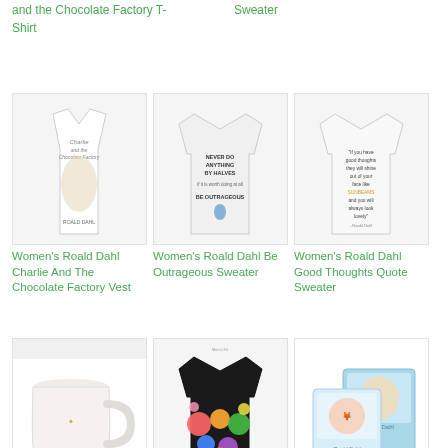and the Chocolate Factory T-Shirt
Sweater
[Figure (photo): Women's Roald Dahl Charlie And The Chocolate Factory Vest product image]
Women's Roald Dahl Charlie And The Chocolate Factory Vest
[Figure (photo): Women's Roald Dahl Be Outrageous Sweater product image]
Women's Roald Dahl Be Outrageous Sweater
[Figure (photo): Women's Roald Dahl Good Thoughts Quote Sweater product image]
Women's Roald Dahl Good Thoughts Quote Sweater
[Figure (photo): Roald Dahl mug product image]
Roald Dahl
[Figure (photo): Unisex Mr Men sweater product image]
Unisex Mr Men
[Figure (photo): Roald Dahl Set box product image]
Roald Dahl Set